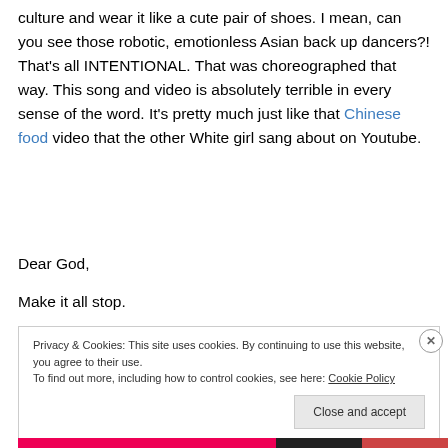culture and wear it like a cute pair of shoes. I mean, can you see those robotic, emotionless Asian back up dancers?! That's all INTENTIONAL. That was choreographed that way. This song and video is absolutely terrible in every sense of the word. It's pretty much just like that Chinese food video that the other White girl sang about on Youtube.
Dear God,
Make it all stop.
Privacy & Cookies: This site uses cookies. By continuing to use this website, you agree to their use.
To find out more, including how to control cookies, see here: Cookie Policy
Close and accept